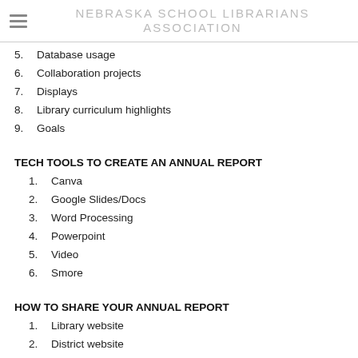NEBRASKA SCHOOL LIBRARIANS ASSOCIATION
5. Database usage
6. Collaboration projects
7. Displays
8. Library curriculum highlights
9. Goals
TECH TOOLS TO CREATE AN ANNUAL REPORT
1. Canva
2. Google Slides/Docs
3. Word Processing
4. Powerpoint
5. Video
6. Smore
HOW TO SHARE YOUR ANNUAL REPORT
1. Library website
2. District website